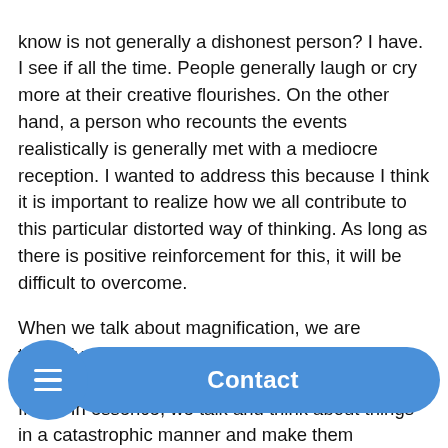know is not generally a dishonest person? I have. I see if all the time. People generally laugh or cry more at their creative flourishes. On the other hand, a person who recounts the events realistically is generally met with a mediocre reception. I wanted to address this because I think it is important to realize how we all contribute to this particular distorted way of thinking. As long as there is positive reinforcement for this, it will be difficult to overcome.
When we talk about magnification, we are typically talking about the tendency to exaggerate the importance of our own errors, fears, and flaws. In essence, we talk and think about things in a catastrophic manner and make them considerably more “awful” than they are. The result of this is lowered self‑esteem, lack of confidence, lackluster performance, compromised energy to complete a task, and just plain old depression.
Be... ou c... to re... it. ...g. detecting it might be difficult. The payoff of the attention that